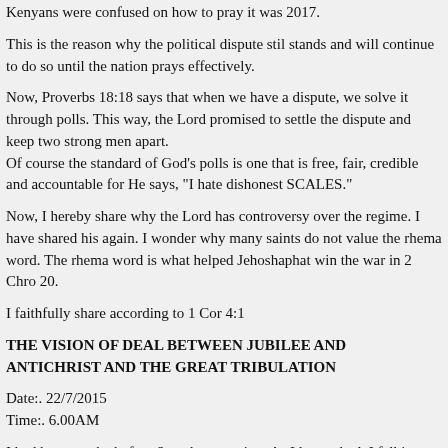Kenyans were confused on how to pray it was 2017.
This is the reason why the political dispute stil stands and will continue to do so until the nation prays effectively.
Now, Proverbs 18:18 says that when we have a dispute, we solve it through polls. This way, the Lord promised to settle the dispute and keep two strong men apart.
Of course the standard of God's polls is one that is free, fair, credible and accountable for He says, "I hate dishonest SCALES."
Now, I hereby share why the Lord has controversy over the regime. I have shared his again. I wonder why many saints do not value the rhema word. The rhema word is what helped Jehoshaphat win the war in 2 Chro 20.
I faithfully share according to 1 Cor 4:1
THE VISION OF DEAL BETWEEN JUBILEE AND ANTICHRIST AND THE GREAT TRIBULATION
Date:. 22/7/2015
Time:. 6.00AM
I had been awake before 6am that morning. As I lay on bed, I fell into a trance. I saw myself discussing the political situation in the country.